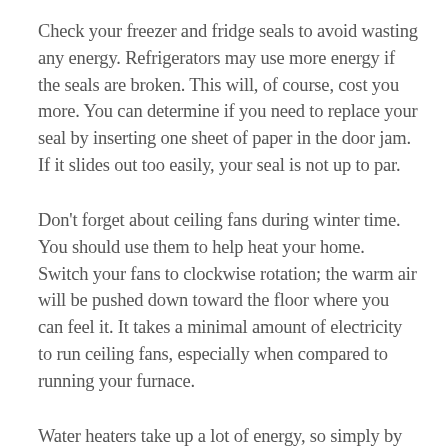Check your freezer and fridge seals to avoid wasting any energy. Refrigerators may use more energy if the seals are broken. This will, of course, cost you more. You can determine if you need to replace your seal by inserting one sheet of paper in the door jam. If it slides out too easily, your seal is not up to par.
Don't forget about ceiling fans during winter time. You should use them to help heat your home. Switch your fans to clockwise rotation; the warm air will be pushed down toward the floor where you can feel it. It takes a minimal amount of electricity to run ceiling fans, especially when compared to running your furnace.
Water heaters take up a lot of energy, so simply by lowering the temperature to around 120 degrees can save a lot of money. This can save you as much as 10 percent on your monthly power bill for a family of four and will give you